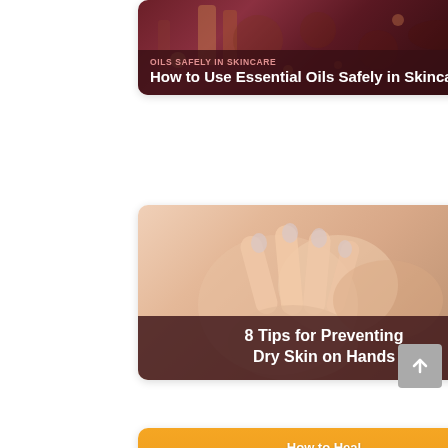[Figure (photo): Card 1: Article thumbnail for 'How to Use Essential Oils Safely in Skincare' — dark reddish background with essential oil bottles, with overlay title text.]
[Figure (photo): Card 2: Article thumbnail for '8 Tips for Preventing Dry Skin on Hands' — close-up photo of hands touching skin, with dark overlay title.]
[Figure (photo): Card 3: Article thumbnail for 'How to Heal Sensitive Skin with German Chamomile' — orange/yellow background with chamomile flower illustrations and overlay title.]